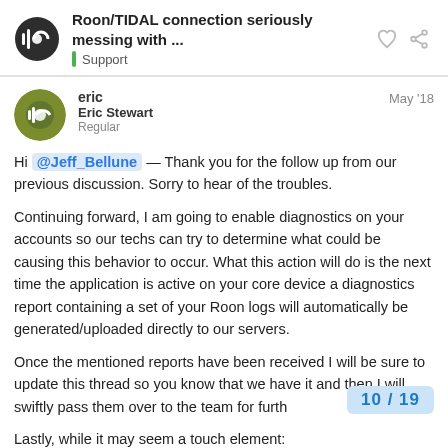Roon/TIDAL connection seriously messing with ... | Support
eric  Eric Stewart  Regular  May '18
Hi @Jeff_Bellune — Thank you for the follow up from our previous discussion. Sorry to hear of the troubles.
Continuing forward, I am going to enable diagnostics on your accounts so our techs can try to determine what could be causing this behavior to occur. What this action will do is the next time the application is active on your core device a diagnostics report containing a set of your Roon logs will automatically be generated/uploaded directly to our servers.
Once the mentioned reports have been received I will be sure to update this thread so you know that we have it and then I will swiftly pass them over to the team for furth
Lastly, while it may seem a touch element:
10 / 19